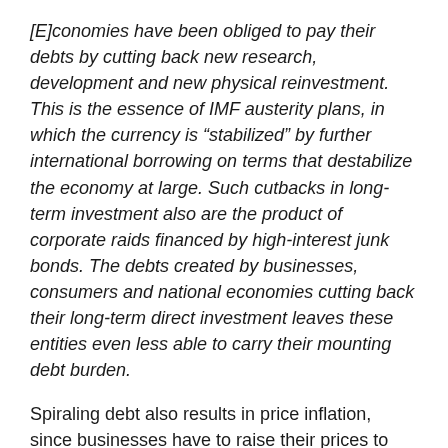[E]conomies have been obliged to pay their debts by cutting back new research, development and new physical reinvestment. This is the essence of IMF austerity plans, in which the currency is “stabilized” by further international borrowing on terms that destabilize the economy at large. Such cutbacks in long-term investment also are the product of corporate raids financed by high-interest junk bonds. The debts created by businesses, consumers and national economies cutting back their long-term direct investment leaves these entities even less able to carry their mounting debt burden.
Spiraling debt also results in price inflation, since businesses have to raise their prices to cover the interest and fees on the debt.
From Sovereign Debt to Monetary Sovereignty